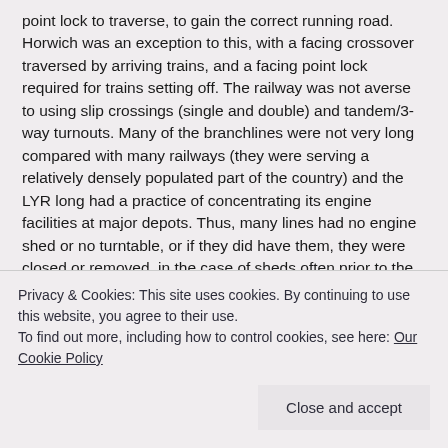point lock to traverse, to gain the correct running road. Horwich was an exception to this, with a facing crossover traversed by arriving trains, and a facing point lock required for trains setting off. The railway was not averse to using slip crossings (single and double) and tandem/3-way turnouts. Many of the branchlines were not very long compared with many railways (they were serving a relatively densely populated part of the country) and the LYR long had a practice of concentrating its engine facilities at major depots. Thus, many lines had no engine shed or no turntable, or if they did have them, they were closed or removed, in the case of sheds often prior to the 20th century and for turntables either then or during the 1930s by the LMS. These are all very
Privacy & Cookies: This site uses cookies. By continuing to use this website, you agree to their use.
To find out more, including how to control cookies, see here: Our Cookie Policy
Close and accept